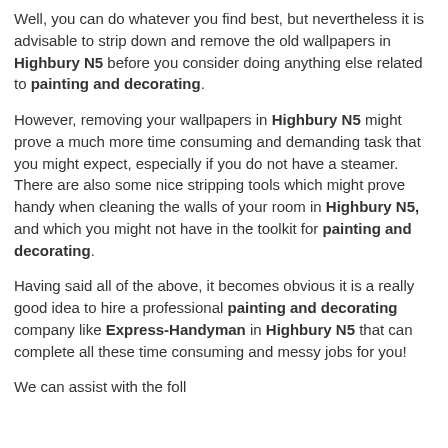Well, you can do whatever you find best, but nevertheless it is advisable to strip down and remove the old wallpapers in Highbury N5 before you consider doing anything else related to painting and decorating.
However, removing your wallpapers in Highbury N5 might prove a much more time consuming and demanding task that you might expect, especially if you do not have a steamer. There are also some nice stripping tools which might prove handy when cleaning the walls of your room in Highbury N5, and which you might not have in the toolkit for painting and decorating.
Having said all of the above, it becomes obvious it is a really good idea to hire a professional painting and decorating company like Express-Handyman in Highbury N5 that can complete all these time consuming and messy jobs for you!
We can assist with the foll...